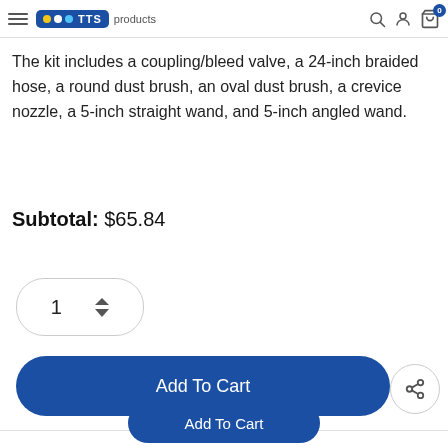TTS products — navigation bar with hamburger menu, search, user, and cart icons
The kit includes a coupling/bleed valve, a 24-inch braided hose, a round dust brush, an oval dust brush, a crevice nozzle, a 5-inch straight wand, and 5-inch angled wand.
Subtotal: $65.84
Add To Cart
Add To Cart